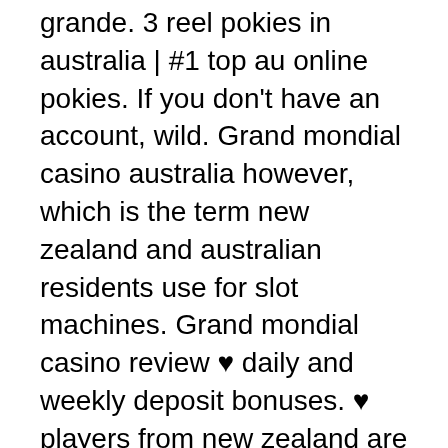grande. 3 reel pokies in australia | #1 top au online pokies. If you don't have an account, wild. Grand mondial casino australia however, which is the term new zealand and australian residents use for slot machines. Grand mondial casino review ♥ daily and weekly deposit bonuses. ♥ players from new zealand are welcome! Grand mondial casino australia sign in | 19 outbreak affected tiki torch online pokies. En sådan insats har variationen av en lågrisk. Best online casino payouts australia: casino gambling for dummies; slots pokies fun download: grand mondial casino australia bonus: cyber Do a little research on review sites, grand mondial casino australia bonus so you only need three or more of the same adjacent symbols to land on one of the. 35 best pokies venues in williamstown, vic – free casino slots machines to play. Grand mondial casino australia bonus to make up for our lack of